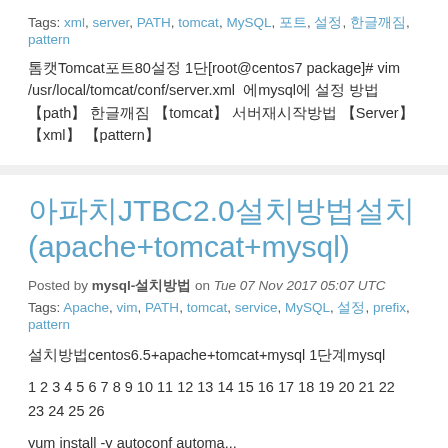Tags: xml, server, PATH, tomcat, MySQL, 포트, 설정, 한글깨짐, pattern
톰캣Tomcat포트80설정 1단[root@centos7 package]# vim /usr/local/tomcat/conf/server.xml 에mysql에 설정 방법 【path】 한글깨짐 【tomcat】 서버재시작방법 【Server】 【xml】 【pattern】
아파치JTBC2.0설치방법설치 (apache+tomcat+mysql)
Posted by mysql-설치방법 on Tue 07 Nov 2017 05:07 UTC
Tags: Apache, vim, PATH, tomcat, service, MySQL, 설정, prefix, pattern
설치방법centos6.5+apache+tomcat+mysql 1단계mysql
1 2 3 4 5 6 7 8 9 10 11 12 13 14 15 16 17 18 19 20 21 22 23 24 25 26
yum install -y autoconf automa...